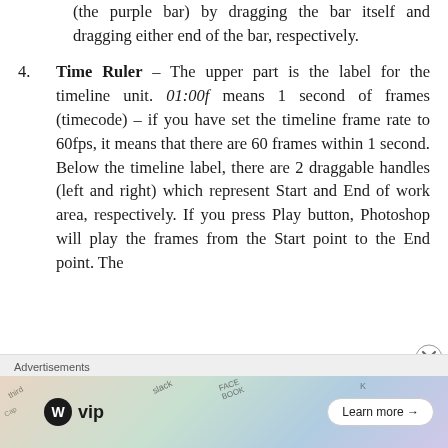(the purple bar) by dragging the bar itself and dragging either end of the bar, respectively.
4. Time Ruler – The upper part is the label for the timeline unit. 01:00f means 1 second of frames (timecode) – if you have set the timeline frame rate to 60fps, it means that there are 60 frames within 1 second. Below the timeline label, there are 2 draggable handles (left and right) which represent Start and End of work area, respectively. If you press Play button, Photoshop will play the frames from the Start point to the End point. The
Advertisements
[Figure (other): WordPress VIP advertisement banner with logo, decorative card imagery, and Learn more button]